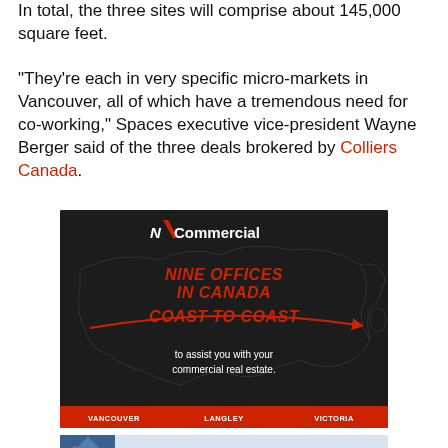In total, the three sites will comprise about 145,000 square feet.
“They’re each in very specific micro-markets in Vancouver, all of which have a tremendous need for co-working,” Spaces executive vice-president Wayne Berger said of the three deals brokered by Colliers Canada.
[Figure (advertisement): NAI Commercial advertisement showing a map of Canada with text: NINE OFFICES IN CANADA COAST TO COAST to assist you with your commercial real estate. Footer shows VANCOUVER, LANGLEY, VICTORIA.]
[Figure (advertisement): MNP advertisement: Your business. Your future. Our focus. Capitalize on all your business opportunities. Learn More button.]